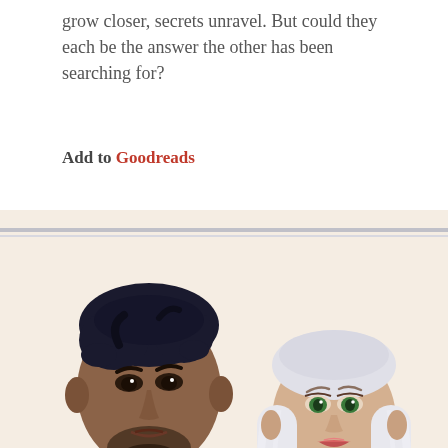grow closer, secrets unravel. But could they each be the answer the other has been searching for?
Add to Goodreads
[Figure (illustration): Illustrated artwork showing two characters: a tall dark-haired man with a beard wearing a grey shirt and black trousers, and a woman with long white hair wearing a blue lace-up dress. They are framed within a decorative silver border with floral corner ornaments against a cream background.]